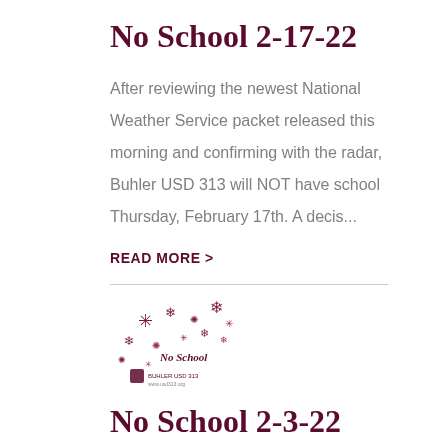No School 2-17-22
After reviewing the newest National Weather Service packet released this morning and confirming with the radar, Buhler USD 313 will NOT have school Thursday, February 17th. A decis...
READ MORE >
[Figure (illustration): Snowflake decorative image with 'No School' text and school logo]
No School 2-3-22
Good Afternoon, After driving area roads, the wind causing snowdrifts is already a concern for safe travel. With overnight